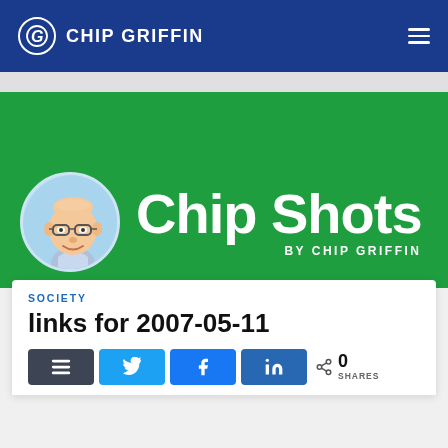CHIP GRIFFIN
[Figure (logo): Chip Shots by Chip Griffin newsletter banner with circular avatar of Chip Griffin (illustrated portrait) on green background]
SOCIETY
links for 2007-05-11
0 SHARES